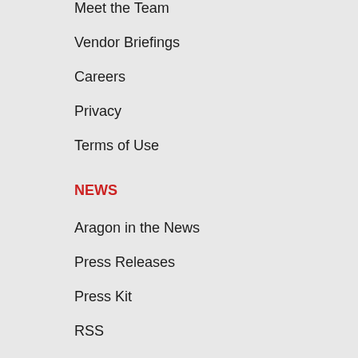Meet the Team
Vendor Briefings
Careers
Privacy
Terms of Use
NEWS
Aragon in the News
Press Releases
Press Kit
RSS